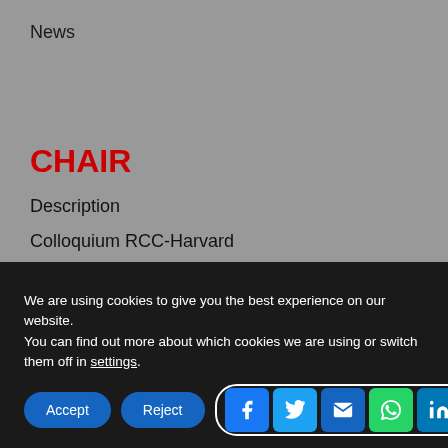News
CHAIR
Description
Colloquium RCC-Harvard
FdE Ethics Project
We are using cookies to give you the best experience on our website.
You can find out more about which cookies we are using or switch them off in settings.
Accept | Reject